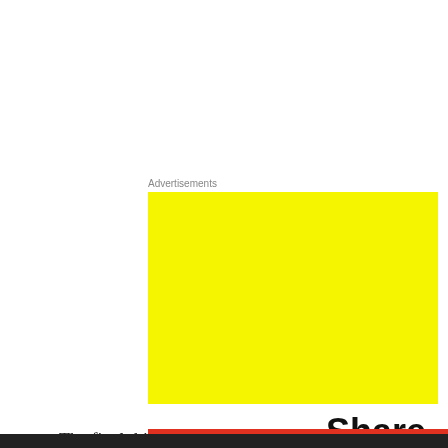Advertisements
[Figure (illustration): Yellow advertisement banner with bold black text reading 'Share, Discuss, Collaborate, P2.']
The final thing of this blog is for me to ask you,
Privacy & Cookies: This site uses cookies. By continuing to use this website, you agree to their use.
To find out more, including how to control cookies, see here: Cookie Policy
Close and accept